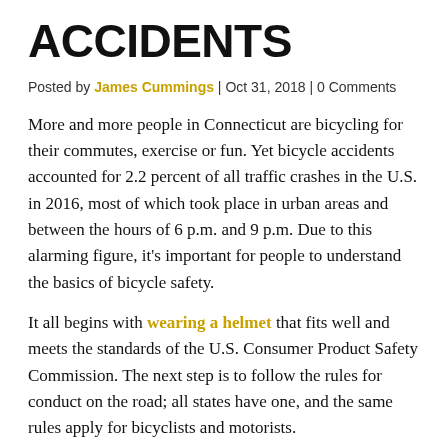ACCIDENTS
Posted by James Cummings | Oct 31, 2018 | 0 Comments
More and more people in Connecticut are bicycling for their commutes, exercise or fun. Yet bicycle accidents accounted for 2.2 percent of all traffic crashes in the U.S. in 2016, most of which took place in urban areas and between the hours of 6 p.m. and 9 p.m. Due to this alarming figure, it's important for people to understand the basics of bicycle safety.
It all begins with wearing a helmet that fits well and meets the standards of the U.S. Consumer Product Safety Commission. The next step is to follow the rules for conduct on the road; all states have one, and the same rules apply for bicyclists and motorists.
Defensive driving is key. Bicyclists should travel with, not against, traffic and always assume that drivers